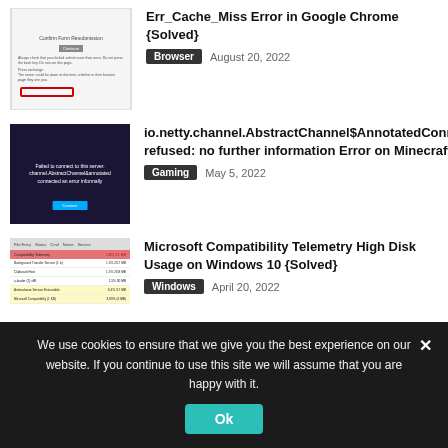Err_Cache_Miss Error in Google Chrome {Solved} — Browser — August 20, 2022
io.netty.channel.AbstractChannel$AnnotatedConnectException:Connection refused: no further information Error on Minecraft — Gaming — May 5, 2022
Microsoft Compatibility Telemetry High Disk Usage on Windows 10 {Solved} — Windows — April 20, 2022
We use cookies to ensure that we give you the best experience on our website. If you continue to use this site we will assume that you are happy with it.